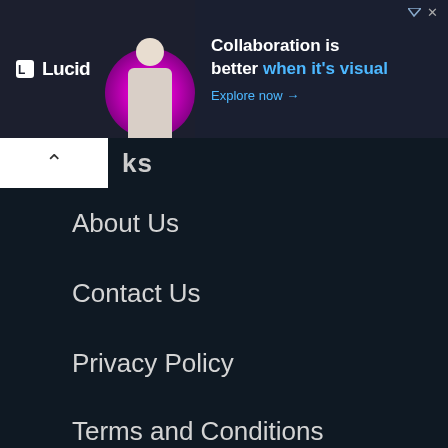[Figure (screenshot): Lucid advertisement banner with dark background, Lucid logo on left, person graphic with magenta background in center, and text 'Collaboration is better when it's visual' with 'Explore now →' CTA on the right]
ks
About Us
Contact Us
Privacy Policy
Terms and Conditions
Copyright 2003 - 2022
Conjecture Corporation